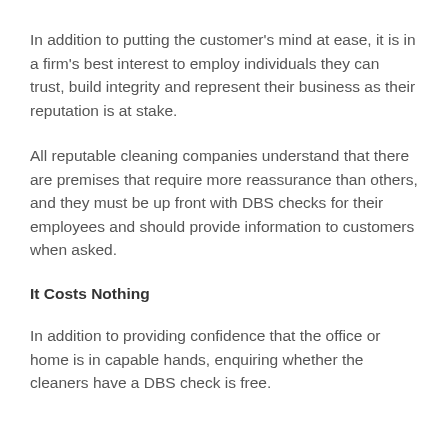In addition to putting the customer's mind at ease, it is in a firm's best interest to employ individuals they can trust, build integrity and represent their business as their reputation is at stake.
All reputable cleaning companies understand that there are premises that require more reassurance than others, and they must be up front with DBS checks for their employees and should provide information to customers when asked.
It Costs Nothing
In addition to providing confidence that the office or home is in capable hands, enquiring whether the cleaners have a DBS check is free.